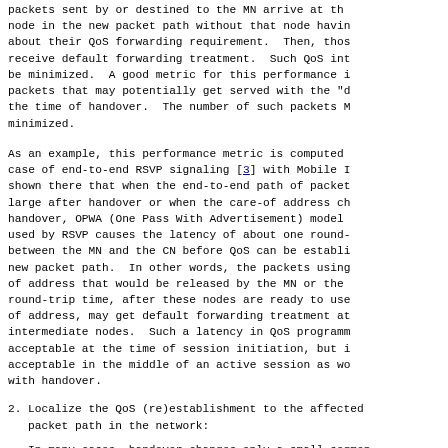packets sent by or destined to the MN arrive at the node in the new packet path without that node having about their QoS forwarding requirement.  Then, those receive default forwarding treatment.  Such QoS int be minimized.  A good metric for this performance i packets that may potentially get served with the "d the time of handover.  The number of such packets M minimized.
As an example, this performance metric is computed case of end-to-end RSVP signaling [3] with Mobile I shown there that when the end-to-end path of packet large after handover or when the care-of address ch handover, OPWA (One Pass With Advertisement) model used by RSVP causes the latency of about one round- between the MN and the CN before QoS can be establi new packet path.  In other words, the packets using of address that would be released by the MN or the round-trip time, after these nodes are ready to use of address, may get default forwarding treatment at intermediate nodes.  Such a latency in QoS programm acceptable at the time of session initiation, but i acceptable in the middle of an active session as wo with handover.
2. Localize the QoS (re)establishment to the affected packet path in the network:
In many cases, handover changes only a small segmen to-end path of MN's packet stream near the extremit